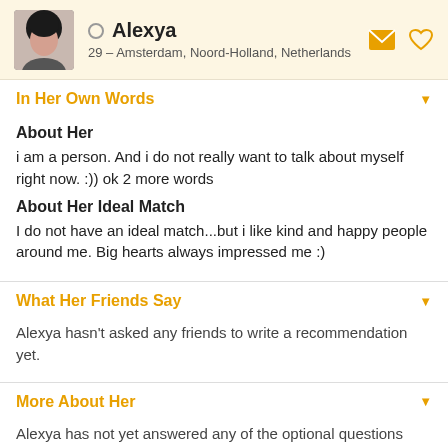Alexya – 29 – Amsterdam, Noord-Holland, Netherlands
In Her Own Words
About Her
i am a person. And i do not really want to talk about myself right now. :)) ok 2 more words
About Her Ideal Match
I do not have an ideal match...but i like kind and happy people around me. Big hearts always impressed me :)
What Her Friends Say
Alexya hasn't asked any friends to write a recommendation yet.
More About Her
Alexya has not yet answered any of the optional questions that